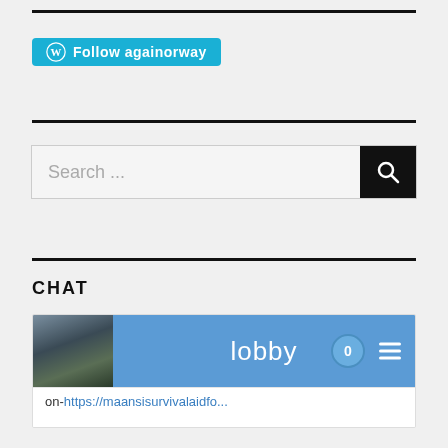[Figure (screenshot): WordPress 'Follow againorway' button with WordPress logo icon, teal/cyan background]
[Figure (screenshot): Search bar with 'Search ...' placeholder text and black search icon button on right]
CHAT
[Figure (screenshot): Chat widget showing lobby header bar with avatar photo, 'lobby' title, badge with 0, hamburger menu icon, and message with link 'on-https://maansisurvivalaidfo...' and timestamp 'Half a day ago']